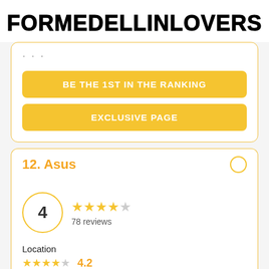FORMEDELLINLOVERS
...
BE THE 1ST IN THE RANKING
EXCLUSIVE PAGE
12. Asus
4 — 78 reviews
Location
4.2
Products/Services
4.1